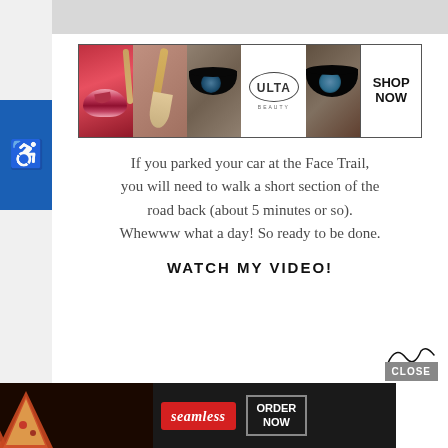[Figure (photo): Ulta Beauty advertisement banner showing makeup photos (lips, brush, eyes) with ULTA logo and SHOP NOW call to action]
If you parked your car at the Face Trail, you will need to walk a short section of the road back (about 5 minutes or so). Whewww what a day! So ready to be done.
WATCH MY VIDEO!
[Figure (screenshot): Seamless food delivery advertisement with pizza imagery, Seamless logo, and ORDER NOW button]
[Figure (other): CLOSE button overlay on bottom right area of page]